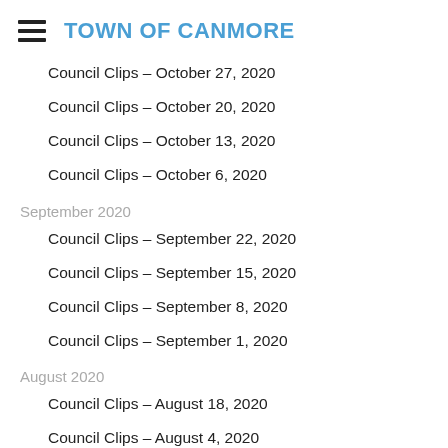TOWN OF CANMORE
Council Clips – October 27, 2020
Council Clips – October 20, 2020
Council Clips – October 13, 2020
Council Clips – October 6, 2020
September 2020
Council Clips – September 22, 2020
Council Clips – September 15, 2020
Council Clips – September 8, 2020
Council Clips – September 1, 2020
August 2020
Council Clips – August 18, 2020
Council Clips – August 4, 2020
July 2020
Council Clips – July 7, 2020